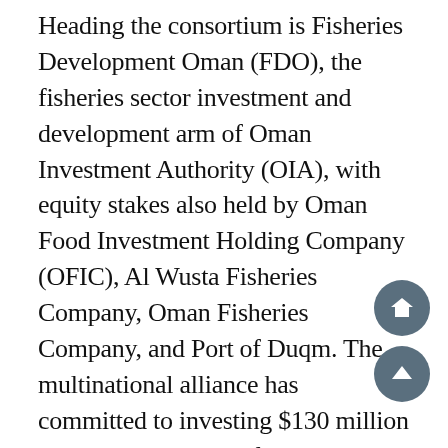Heading the consortium is Fisheries Development Oman (FDO), the fisheries sector investment and development arm of Oman Investment Authority (OIA), with equity stakes also held by Oman Food Investment Holding Company (OFIC), Al Wusta Fisheries Company, Oman Fisheries Company, and Port of Duqm. The multinational alliance has committed to investing $130 million in the development of the multipurpose fisheries port at Duqm.
In tapping SEM Lorient-Keroman, the consortium will be looked to replicate the French port's considerable success in Duqm as well. The multipurpose fisheries port on Oman's southeast coast is expected to be biggest of its kind in the Sultan at once being a fisheries industrial hub...